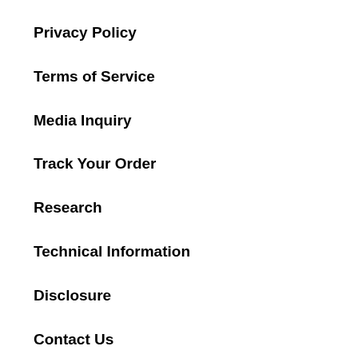Privacy Policy
Terms of Service
Media Inquiry
Track Your Order
Research
Technical Information
Disclosure
Contact Us